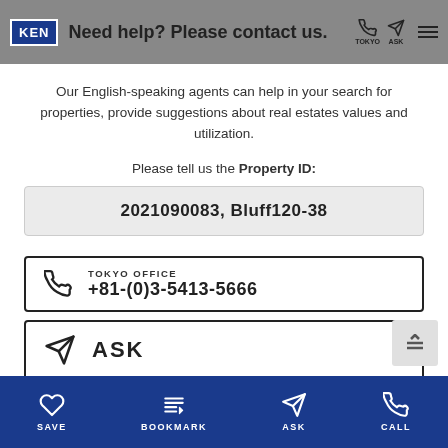KEN | Need help? Please contact us.
Our English-speaking agents can help in your search for properties, provide suggestions about real estates values and utilization.
Please tell us the Property ID:
2021090083, Bluff120-38
TOKYO OFFICE +81-(0)3-5413-5666
ASK
SAVE  BOOKMARK  ASK  CALL